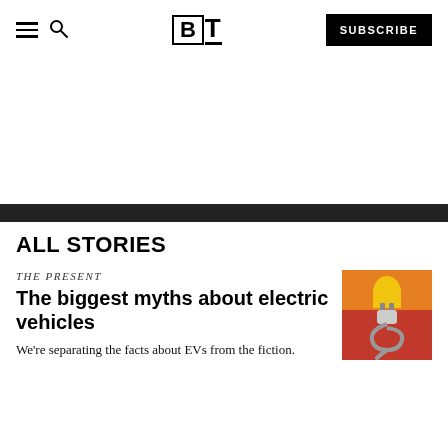BT — Subscribe
ALL STORIES
THE PRESENT
The biggest myths about electric vehicles
We're separating the facts about EVs from the fiction.
[Figure (photo): A yellow electric vehicle charging plug against a red background, with a coiled grey cable]